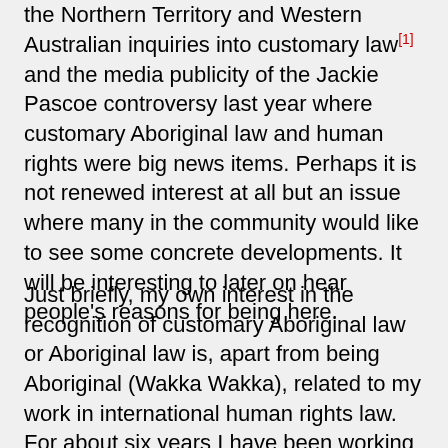the Northern Territory and Western Australian inquiries into customary law[1] and the media publicity of the Jackie Pascoe controversy last year where customary Aboriginal law and human rights were big news items. Perhaps it is not renewed interest at all but an issue where many in the community would like to see some concrete developments. It will be interesting to later on hear people's reasons for being here.
Just briefly, my own interest in the recognition of customary Aboriginal law or Aboriginal law is, apart from being Aboriginal (Wakka Wakka), related to my work in international human rights law. For about six years I have been working in the area of international human rights and